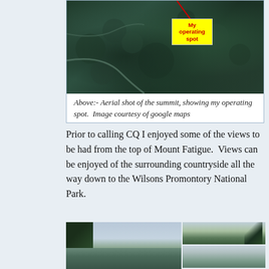[Figure (map): Aerial satellite shot of a forested summit (Mount Fatigue) with a yellow label box reading 'My operating spot' and a red line pointing to the location. Image courtesy of Google Maps.]
Above:- Aerial shot of the summit, showing my operating spot.  Image courtesy of google maps
Prior to calling CQ I enjoyed some of the views to be had from the top of Mount Fatigue.  Views can be enjoyed of the surrounding countryside all the way down to the Wilsons Promontory National Park.
[Figure (photo): Two landscape photos side by side showing views from the top of Mount Fatigue, with trees, rolling hills, and distant countryside visible under a hazy sky.]